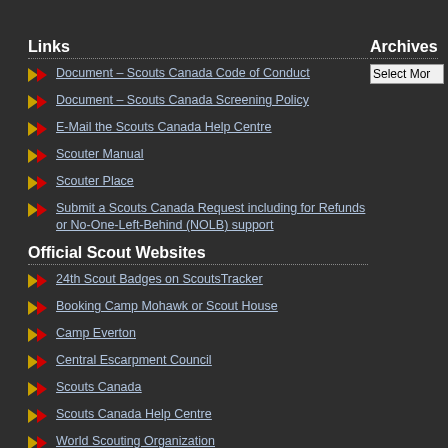Links
Document – Scouts Canada Code of Conduct
Document – Scouts Canada Screening Policy
E-Mail the Scouts Canada Help Centre
Scouter Manual
Scouter Place
Submit a Scouts Canada Request including for Refunds or No-One-Left-Behind (NOLB) support
Official Scout Websites
24th Scout Badges on ScoutsTracker
Booking Camp Mohawk or Scout House
Camp Everton
Central Escarpment Council
Scouts Canada
Scouts Canada Help Centre
World Scouting Organization
Other Sites of Scouting Interest
Animated Knot Tying
Archives
Select Mo...